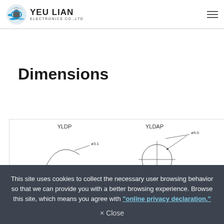YEU LIAN ELECTRONICS CO.,LTD
Dimensions
[Figure (engineering-diagram): Engineering dimension drawings showing YLDP and YLDAP connector variants. YLDP shows a partial arc with dimension ø3.1. YLDAP shows a full circle with crosshairs and dimension ø9.0.]
This site uses cookies to collect the necessary user browsing behavior so that we can provide you with a better browsing experience. Browse this site, which means you agree with "online privacy declaration."
× Close